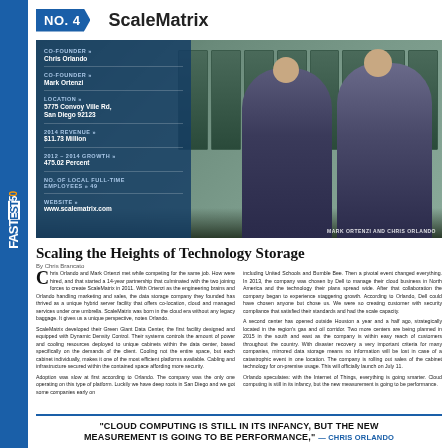NO. 4  ScaleMatrix
[Figure (photo): Two men in suits standing in a data center. Info overlay shows company details: CO-FOUNDER Chris Orlando, CO-FOUNDER Mark Ortenzi, LOCATION 5775 Convoy Ville Rd, San Diego 92123, 2014 REVENUE $11.73 Million, 2012-2014 GROWTH 475.02 Percent, NO. OF LOCAL FULL-TIME EMPLOYEES 49, WEBSITE www.scalematrix.com. Caption: MARK ORTENZI AND CHRIS ORLANDO.]
Scaling the Heights of Technology Storage
By Chris Brancato
Chris Orlando and Mark Ortenzi met while competing for the same job. How were hired, and that started a 14-year partnership that culminated with the two joining forces to create ScaleMatrix in 2011. With Ortenzi as the engineering brains and Orlando handling marketing and sales, the data storage company they founded has thrived as a unique hybrid server facility that offers co-location, cloud and managed services under one umbrella. ScaleMatrix was born in the cloud era without any legacy baggage. It gives us a unique perspective, notes Orlando.
ScaleMatrix developed their Green Giant Data Center, the first facility designed and equipped with Dynamic Density Control. Their systems controls the amount of power and cooling resources deployed to unique cabinets within the data center, based specifically on the demands of the client. Cooling not the entire space, but each cabinet individually, makes it one of the most efficient platforms available. Cabling and infrastructure secured within the contained space affording more security.

Adoption was slow at first according to Orlando. The company was the only one operating on this type of platform. Luckily we have deep roots in San Diego and we got some companies early on including United Schools and Bumble Bee. Then a pivotal event changed everything. In 2013, the company was chosen by Dell to manage their cloud business in North America and the technology their plans spread wide. After that collaboration the company began to experience staggering growth. According to Orlando, Dell could have chosen anyone but chose us. We were so creating customer with security compliance that satisfied their standards and had the scale capacity.
A second center has opened outside Houston a year and a half ago, strategically located in the region's gas and oil corridor. Two more centers are being planned in 2015 in the south and east as the company is within easy reach of customers throughout the country. With disaster recovery a very important criteria for many companies, mirrored data storage means no information will be lost in case of a catastrophic event in one location. The company is rolling out sales of the cabinet technology for on-premise usage. This will officially launch on July 11.

Orlando speculates: with the Internet of Things, everything is going smarter. Cloud computing is still in its infancy, but the new measurement is going to be performance.
"CLOUD COMPUTING IS STILL IN ITS INFANCY, BUT THE NEW MEASUREMENT IS GOING TO BE PERFORMANCE," — CHRIS ORLANDO